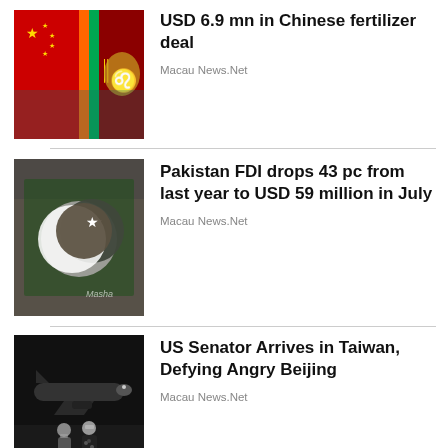[Figure (photo): Chinese and Sri Lankan flags side by side, red background with gold stars and golden lion emblem]
USD 6.9 mn in Chinese fertilizer deal
Macau News.Net
[Figure (photo): Pakistan flag with white crescent and star, crowd of people in background]
Pakistan FDI drops 43 pc from last year to USD 59 million in July
Macau News.Net
[Figure (photo): Two masked people standing in front of a private jet at night on an airport tarmac]
US Senator Arrives in Taiwan, Defying Angry Beijing
Macau News.Net